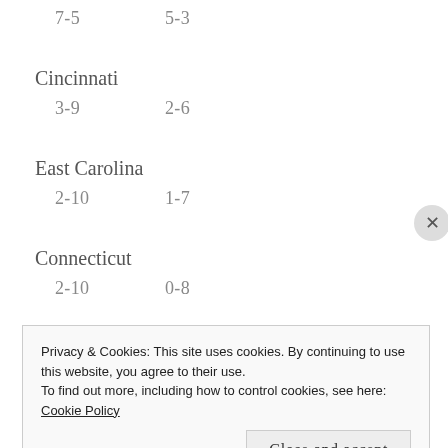7-5    5-3
Cincinnati
3-9    2-6
East Carolina
2-10    1-7
Connecticut
2-10    0-8
AAC West
Privacy & Cookies: This site uses cookies. By continuing to use this website, you agree to their use.
To find out more, including how to control cookies, see here: Cookie Policy
Close and accept